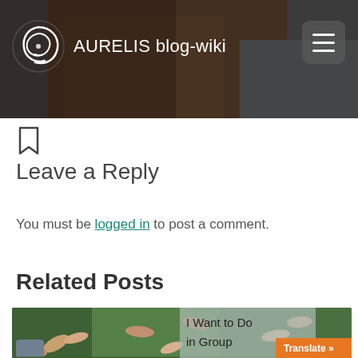AURELIS blog-wiki
Leave a Reply
You must be logged in to post a comment.
Related Posts
[Figure (photo): Overhead view of people's bare feet arranged in a circle on green grass, with hands also visible]
I Want to Do in Group
Translate »